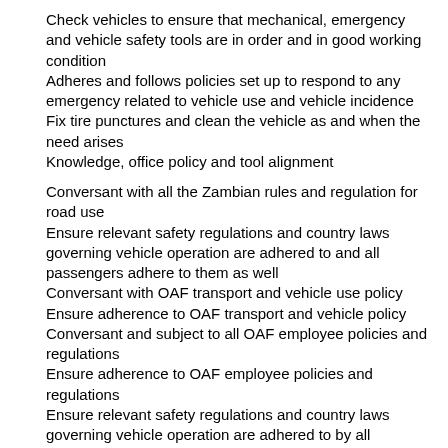Check vehicles to ensure that mechanical, emergency and vehicle safety tools are in order and in good working condition
Adheres and follows policies set up to respond to any emergency related to vehicle use and vehicle incidence
Fix tire punctures and clean the vehicle as and when the need arises
Knowledge, office policy and tool alignment
Conversant with all the Zambian rules and regulation for road use
Ensure relevant safety regulations and country laws governing vehicle operation are adhered to and all passengers adhere to them as well
Conversant with OAF transport and vehicle use policy
Ensure adherence to OAF transport and vehicle policy
Conversant and subject to all OAF employee policies and regulations
Ensure adherence to OAF employee policies and regulations
Ensure relevant safety regulations and country laws governing vehicle operation are adhered to by all passengers
Timely filing of the vehicle log books